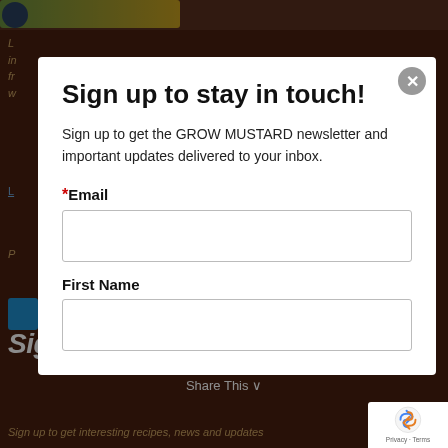[Figure (screenshot): Dark brown website background with partial text content visible behind a modal overlay. Background shows a food/recipe website with italic gold text, a blue link, a blue button, and large white italic heading 'Sign up to stay in touch!' at the bottom.]
Sign up to stay in touch!
Sign up to get the GROW MUSTARD newsletter and important updates delivered to your inbox.
*Email
First Name
[Figure (logo): Google reCAPTCHA badge with spinning arrows logo and 'Privacy · Terms' text]